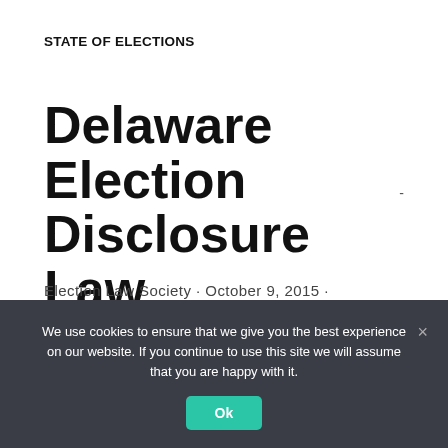STATE OF ELECTIONS
Delaware Election Disclosure Law
Election Law Society · October 9, 2015 ·
—
By: Briana Cornelius
We use cookies to ensure that we give you the best experience on our website. If you continue to use this site we will assume that you are happy with it.